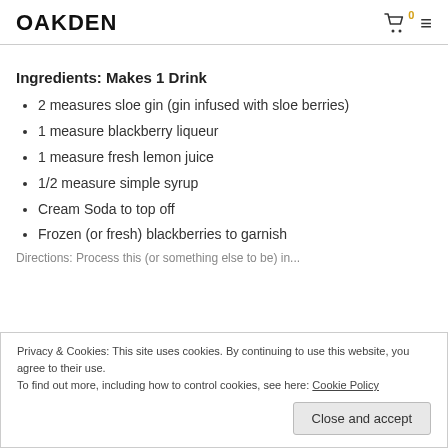OAKDEN
Ingredients: Makes 1 Drink
2 measures sloe gin (gin infused with sloe berries)
1 measure blackberry liqueur
1 measure fresh lemon juice
1/2 measure simple syrup
Cream Soda to top off
Frozen (or fresh) blackberries to garnish
Privacy & Cookies: This site uses cookies. By continuing to use this website, you agree to their use. To find out more, including how to control cookies, see here: Cookie Policy